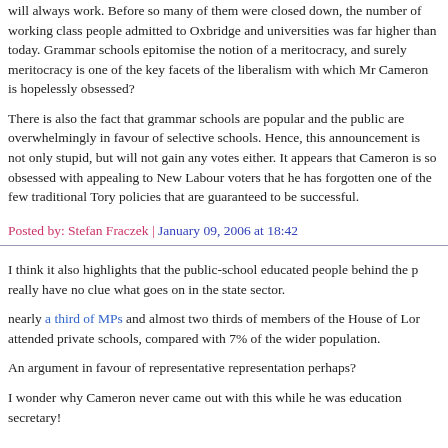will always work. Before so many of them were closed down, the number of working class people admitted to Oxbridge and universities was far higher than today. Grammar schools epitomise the notion of a meritocracy, and surely meritocracy is one of the key facets of the liberalism with which Mr Cameron is hopelessly obsessed?
There is also the fact that grammar schools are popular and the public are overwhelmingly in favour of selective schools. Hence, this announcement is not only stupid, but will not gain any votes either. It appears that Cameron is so obsessed with appealing to New Labour voters that he has forgotten one of the few traditional Tory policies that are guaranteed to be successful.
Posted by: Stefan Fraczek | January 09, 2006 at 18:42
I think it also highlights that the public-school educated people behind the party really have no clue what goes on in the state sector.
nearly a third of MPs and almost two thirds of members of the House of Lords attended private schools, compared with 7% of the wider population.
An argument in favour of representative representation perhaps?
I wonder why Cameron never came out with this while he was education secretary!